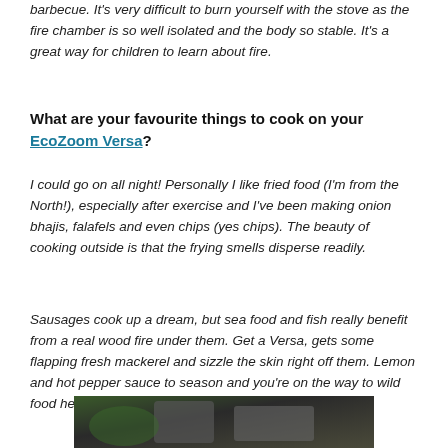barbecue. It's very difficult to burn yourself with the stove as the fire chamber is so well isolated and the body so stable. It's a great way for children to learn about fire.
What are your favourite things to cook on your EcoZoom Versa?
I could go on all night! Personally I like fried food (I'm from the North!), especially after exercise and I've been making onion bhajis, falafels and even chips (yes chips). The beauty of cooking outside is that the frying smells disperse readily.
Sausages cook up a dream, but sea food and fish really benefit from a real wood fire under them. Get a Versa, gets some flapping fresh mackerel and sizzle the skin right off them. Lemon and hot pepper sauce to season and you're on the way to wild food heaven.
[Figure (photo): Partial photo visible at bottom of page, appears to show outdoor cooking scene]